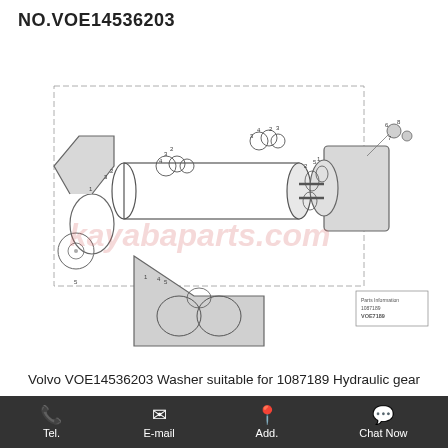NO.VOE14536203
[Figure (engineering-diagram): Exploded view schematic of Volvo VOE14536203 Washer / hydraulic gear pump assembly showing numbered parts including shaft, gears, washers, seals and housing components with part reference numbers and a small reference diagram in bottom right corner. Watermark: kayabaparts.com]
Volvo VOE14536203 Washer suitable for 1087189 Hydraulic gear pump for quickfit and rotator assembly.
Tel.   E-mail   Add.   Chat Now